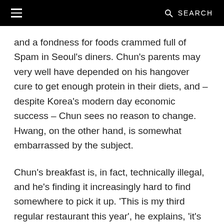≡  🔍 SEARCH
and a fondness for foods crammed full of Spam in Seoul's diners. Chun's parents may very well have depended on his hangover cure to get enough protein in their diets, and – despite Korea's modern day economic success – Chun sees no reason to change. Hwang, on the other hand, is somewhat embarrassed by the subject.
Chun's breakfast is, in fact, technically illegal, and he's finding it increasingly hard to find somewhere to pick it up. 'This is my third regular restaurant this year', he explains, 'it's getting harder and harder to find'. Despite the decline, eating dog meat is a practice commonly accepted amongst older generations, and the police rarely enforce the law. In fact, an attempt to legalize the butchering of dogs as livestock this April was quickly quashed by angry animal